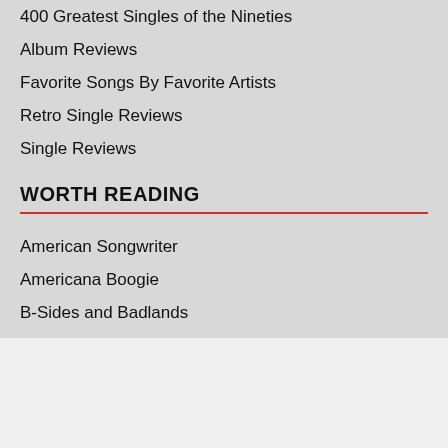400 Greatest Singles of the Nineties
Album Reviews
Favorite Songs By Favorite Artists
Retro Single Reviews
Single Reviews
WORTH READING
American Songwriter
Americana Boogie
B-Sides and Badlands
Belles and Gals
CMT Blog
Color Me Country
Country Exclusive
Country Perspective